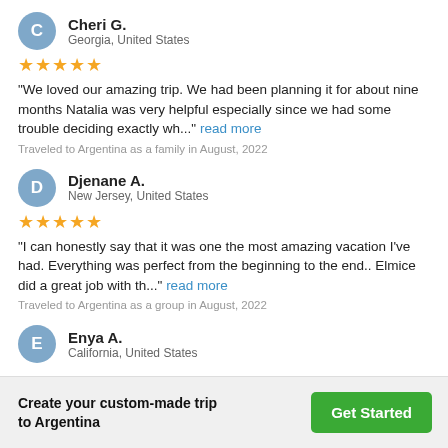Cheri G. — Georgia, United States — ★★★★★ — "We loved our amazing trip. We had been planning it for about nine months Natalia was very helpful especially since we had some trouble deciding exactly wh..." read more — Traveled to Argentina as a family in August, 2022
Djenane A. — New Jersey, United States — ★★★★★ — "I can honestly say that it was one the most amazing vacation I've had. Everything was perfect from the beginning to the end.. Elmice did a great job with th..." read more — Traveled to Argentina as a group in August, 2022
Enya A. — California, United States
Create your custom-made trip to Argentina
Get Started